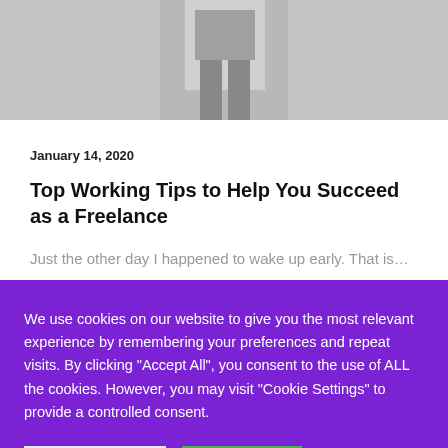[Figure (photo): Partial grayscale photo of a person, cropped showing lower body/torso area in gray tones]
January 14, 2020
Top Working Tips to Help You Succeed as a Freelance
Just the other day I happened to wake up early. That is…
We use cookies on our website to give you the most relevant experience by remembering your preferences and repeat visits. By clicking "Accept All", you consent to the use of ALL the cookies. However, you may visit "Cookie Settings" to provide a controlled consent.